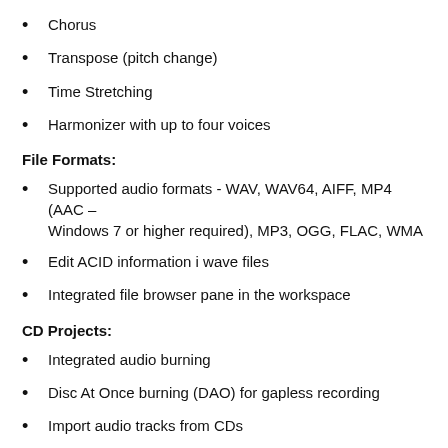Chorus
Transpose (pitch change)
Time Stretching
Harmonizer with up to four voices
File Formats:
Supported audio formats - WAV, WAV64, AIFF, MP4 (AAC – Windows 7 or higher required), MP3, OGG, FLAC, WMA
Edit ACID information i wave files
Integrated file browser pane in the workspace
CD Projects:
Integrated audio burning
Disc At Once burning (DAO) for gapless recording
Import audio tracks from CDs
Supports buffer underrun protection schemes
Save and load CD projects
Erase CD RWs